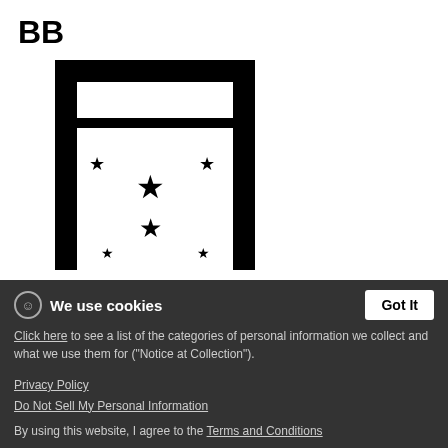BB
[Figure (logo): Logo showing a stylized letter A shape with a rectangular bar at top and arch legs, decorated with five stars arranged in a scattered pattern in the center space]
Tags
Ravewear   Taylor Swift   cirussociety   EDC   Calvin Harris
selfie   ravewear   Tomorrowland   rave   Thecircussociety
We use cookies
Click here to see a list of the categories of personal information we collect and what we use them for ("Notice at Collection").
Privacy Policy
Do Not Sell My Personal Information
By using this website, I agree to the Terms and Conditions